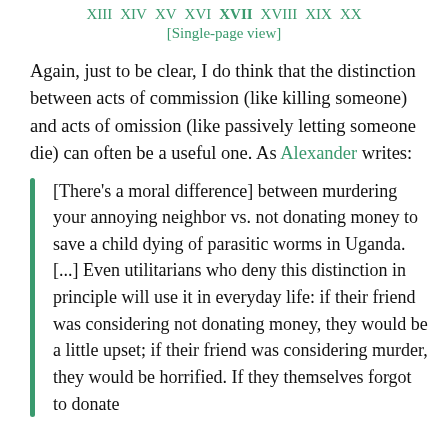XIII  XIV  XV  XVI  XVII  XVIII  XIX  XX
[Single-page view]
Again, just to be clear, I do think that the distinction between acts of commission (like killing someone) and acts of omission (like passively letting someone die) can often be a useful one. As Alexander writes:
[There's a moral difference] between murdering your annoying neighbor vs. not donating money to save a child dying of parasitic worms in Uganda. [...] Even utilitarians who deny this distinction in principle will use it in everyday life: if their friend was considering not donating money, they would be a little upset; if their friend was considering murder, they would be horrified. If they themselves forgot to donate